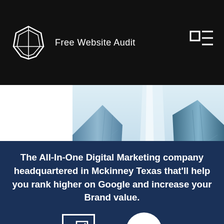Free Website Audit
[Figure (photo): Upward-angle photo of modern glass skyscrapers against sky]
The All-In-One Digital Marketing company headquartered in Mckinney Texas that'll help you rank higher on Google and increase your Brand value.